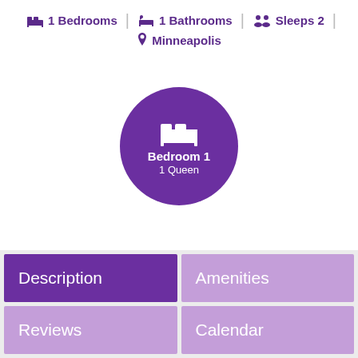1 Bedrooms | 1 Bathrooms | Sleeps 2 | Minneapolis
[Figure (illustration): Purple circle with bed icon, labeled Bedroom 1, 1 Queen]
Description
Amenities
Reviews
Calendar